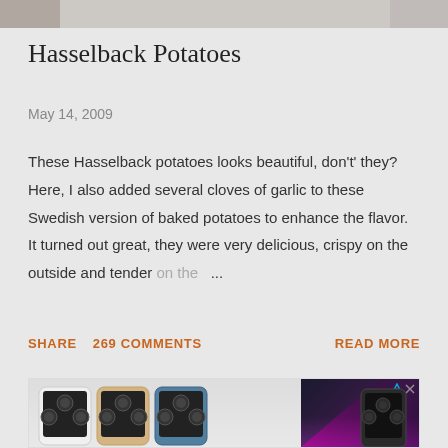[Figure (photo): Partial top image strip of food photo (Hasselback Potatoes) cropped at top of page]
Hasselback Potatoes
May 14, 2009
These Hasselback potatoes looks beautiful, don't' they? Here, I also added several cloves of garlic to these Swedish version of baked potatoes to enhance the flavor. It turned out great, they were very delicious, crispy on the outside and tender on the ...
SHARE   269 COMMENTS   READ MORE
[Figure (photo): Advertisement showing iPhone 12 Pro and iPhone 13 Pro models side by side]